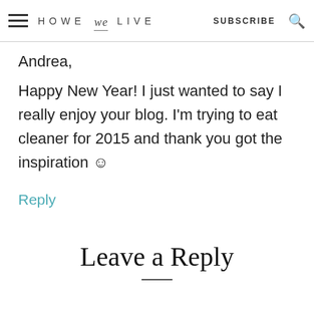HOWE we LIVE  SUBSCRIBE
Andrea,
Happy New Year! I just wanted to say I really enjoy your blog. I'm trying to eat cleaner for 2015 and thank you got the inspiration ☺
Reply
Leave a Reply